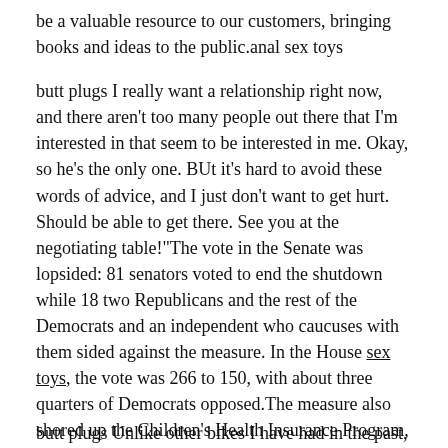be a valuable resource to our customers, bringing books and ideas to the public.anal sex toys
butt plugs I really want a relationship right now, and there aren't too many people out there that I'm interested in that seem to be interested in me. Okay, so he's the only one. BUt it's hard to avoid these words of advice, and I just don't want to get hurt. Should be able to get there. See you at the negotiating table!"The vote in the Senate was lopsided: 81 senators voted to end the shutdown while 18 two Republicans and the rest of the Democrats and an independent who caucuses with them sided against the measure. In the House sex toys, the vote was 266 to 150, with about three quarters of Democrats opposed.The measure also shored up the Children's Health Insurance Program, known as CHIP, which insures nearly nine million children.butt plugs
butt plugs Unlike other bikes I have had in the past, read...